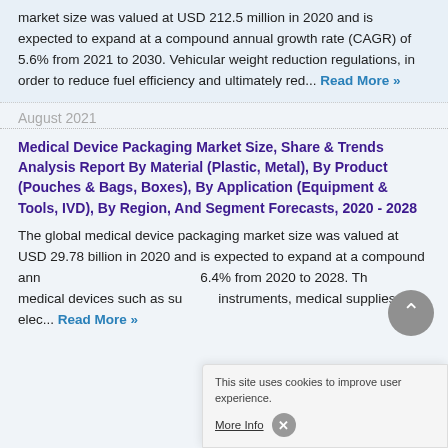market size was valued at USD 212.5 million in 2020 and is expected to expand at a compound annual growth rate (CAGR) of 5.6% from 2021 to 2030. Vehicular weight reduction regulations, in order to reduce fuel efficiency and ultimately red... Read More »
August 2021
Medical Device Packaging Market Size, Share & Trends Analysis Report By Material (Plastic, Metal), By Product (Pouches & Bags, Boxes), By Application (Equipment & Tools, IVD), By Region, And Segment Forecasts, 2020 - 2028
The global medical device packaging market size was valued at USD 29.78 billion in 2020 and is expected to expand at a compound annual growth rate (CAGR) of 6.4% from 2020 to 2028. The market for medical devices such as surgical instruments, medical supplies, elec... Read More »